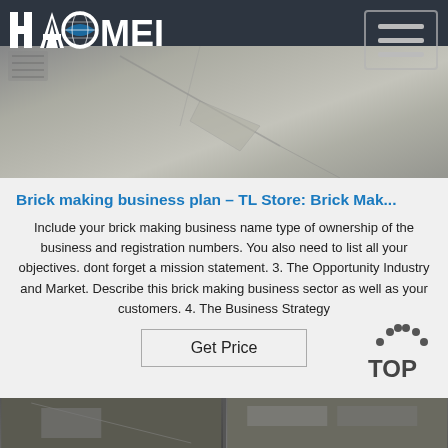[Figure (logo): HAOMEI company logo in white text with globe icon on dark background header]
[Figure (photo): Aerial/close-up photo of cracked concrete pavement surface]
Brick making business plan – TL Store: Brick Mak...
Include your brick making business name type of ownership of the business and registration numbers. You also need to list all your objectives. dont forget a mission statement. 3. The Opportunity Industry and Market. Describe this brick making business sector as well as your customers. 4. The Business Strategy
[Figure (other): Get Price button with border]
[Figure (other): TOP scroll-to-top button with dots arc above text]
[Figure (photo): Bottom strip showing two thumbnail images of brick/construction related content]